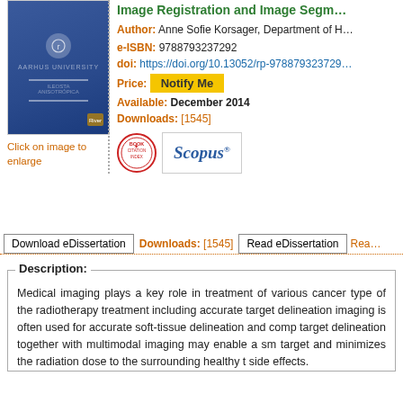[Figure (illustration): Book cover for 'Image Registration and Image Segmentation' dissertation, blue cover with publisher logo]
Click on image to enlarge
Image Registration and Image Segmentation
Author: Anne Sofie Korsager, Department of H...
e-ISBN: 9788793237292
doi: https://doi.org/10.13052/rp-9788793237292
Price: Notify Me
Available: December 2014
Downloads: [1545]
[Figure (logo): Book Citation Index badge (BCI) and Scopus logo button]
Download eDissertation   Downloads: [1545]   Read eDissertation   Rea...
Description:
Medical imaging plays a key role in treatment of various cancer types of the radiotherapy treatment including accurate target delineation imaging is often used for accurate soft-tissue delineation and comp target delineation together with multimodal imaging may enable a sm target and minimizes the radiation dose to the surrounding healthy t side effects.